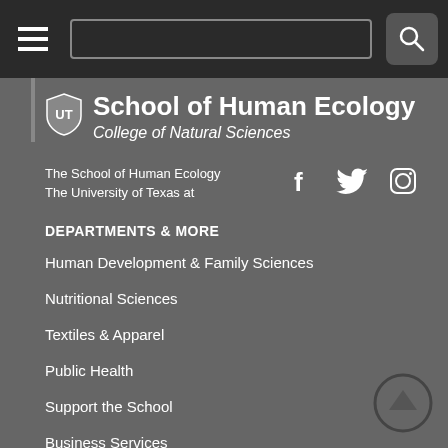[Figure (screenshot): Top navigation bar with hamburger menu, search bar, and search button]
School of Human Ecology
College of Natural Sciences
The School of Human Ecology
The University of Texas at
DEPARTMENTS & MORE
Human Development & Family Sciences
Nutritional Sciences
Textiles & Apparel
Public Health
Support the School
Business Services
Contact
At a Glance
Newsletter